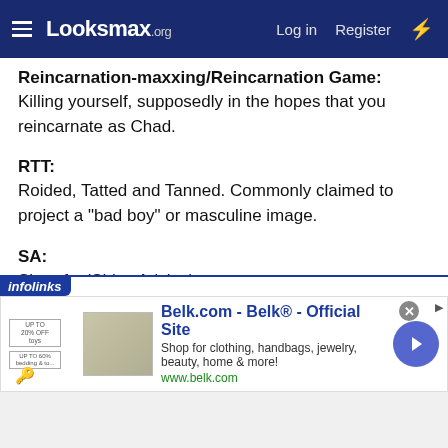Looksmax.org | Log in | Register
Reincarnation-maxxing/Reincarnation Game:
Killing yourself, supposedly in the hopes that you reincarnate as Chad.
RTT:
Roided, Tatted and Tanned. Commonly claimed to project a "bad boy" or masculine image.
SA:
Short for 'Shitty Advice'
SAP:
Small Asian Penis. Used to address Asian males.
[Figure (screenshot): infolinks advertisement banner for Belk.com]